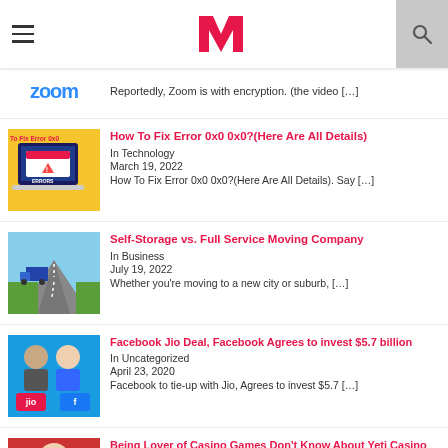MasterTricks header with hamburger menu, logo, search
Reportedly, Zoom is with encryption. (the video […]
How To Fix Error 0x0 0x0?(Here Are All Details)
In Technology
March 19, 2022
How To Fix Error 0x0 0x0?(Here Are All Details). Say […]
Self-Storage vs. Full Service Moving Company
In Business
July 19, 2022
Whether you're moving to a new city or suburb, […]
Facebook Jio Deal, Facebook Agrees to invest $5.7 billion
In Uncategorized
April 23, 2020
Facebook to tie-up with Jio, Agrees to invest $5.7 […]
Being Lover of Casino Games Don't Know About Yeti Casino